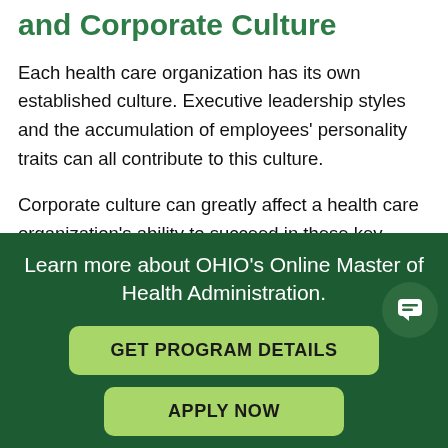Human Resource Management and Corporate Culture
Each health care organization has its own established culture. Executive leadership styles and the accumulation of employees' personality traits can all contribute to this culture.
Corporate culture can greatly affect a health care organization's ability to succeed in these key areas:
Attracting talent...
Learn more about OHIO's Online Master of Health Administration.
GET PROGRAM DETAILS
APPLY NOW